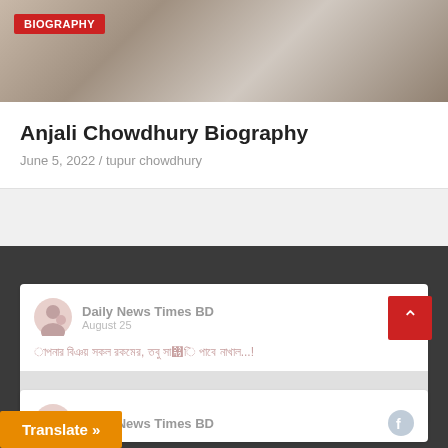[Figure (photo): Black and white historical photograph background with sepia tones]
BIOGRAPHY
Anjali Chowdhury Biography
June 5, 2022 / tupur chowdhury
[Figure (screenshot): Daily News Times BD Facebook widget card showing August 25 post with Bengali text]
[Figure (screenshot): Second Daily News Times BD Facebook widget card]
Translate »